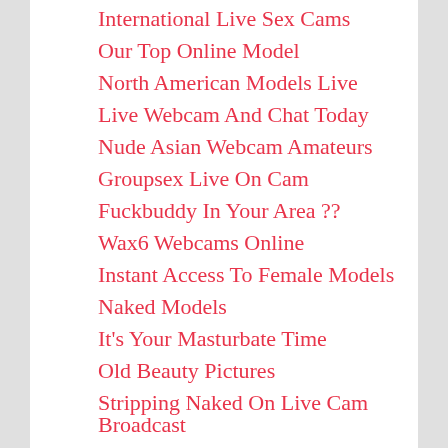International Live Sex Cams
Our Top Online Model
North American Models Live
Live Webcam And Chat Today
Nude Asian Webcam Amateurs
Groupsex Live On Cam
Fuckbuddy In Your Area ??
Wax6 Webcams Online
Instant Access To Female Models
Naked Models
It's Your Masturbate Time
Old Beauty Pictures
Stripping Naked On Live Cam Broadcast
Nude Girls Live On Cam
Geile Hausfrauen Cams
Cute Dumb Teens